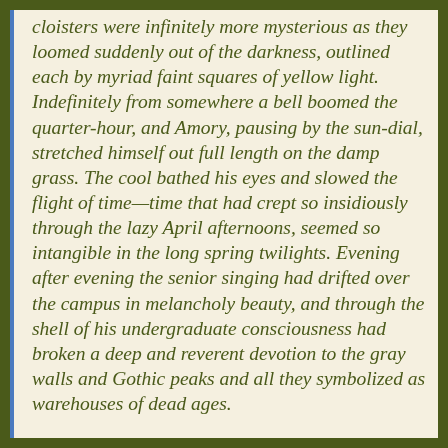cloisters were infinitely more mysterious as they loomed suddenly out of the darkness, outlined each by myriad faint squares of yellow light. Indefinitely from somewhere a bell boomed the quarter-hour, and Amory, pausing by the sun-dial, stretched himself out full length on the damp grass. The cool bathed his eyes and slowed the flight of time—time that had crept so insidiously through the lazy April afternoons, seemed so intangible in the long spring twilights. Evening after evening the senior singing had drifted over the campus in melancholy beauty, and through the shell of his undergraduate consciousness had broken a deep and reverent devotion to the gray walls and Gothic peaks and all they symbolized as warehouses of dead ages.